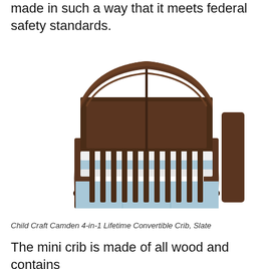made in such a way that it meets federal safety standards.
[Figure (photo): Dark brown wooden baby crib (Child Craft Camden 4-in-1 Lifetime Convertible Crib, Slate) with vertical slats, arched headboard, curved legs, and light blue crib skirt/bumper visible inside.]
Child Craft Camden 4-in-1 Lifetime Convertible Crib, Slate
The mini crib is made of all wood and contains